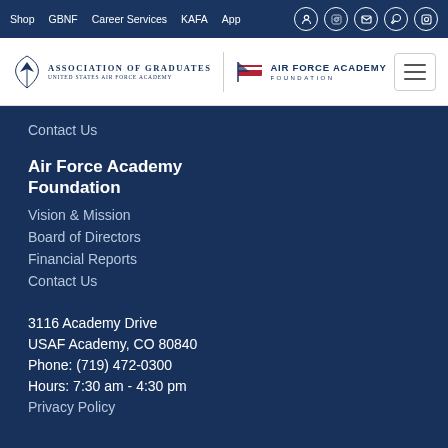Shop | GBNF | Career Services | KAFA | App
[Figure (logo): Association of Graduates United States Air Force Academy logo and Air Force Academy Foundation logo with navigation hamburger menu]
Contact Us
Air Force Academy Foundation
Vision & Mission
Board of Directors
Financial Reports
Contact Us
3116 Academy Drive
USAF Academy, CO 80840
Phone: (719) 472-0300
Hours: 7:30 am - 4:30 pm
Privacy Policy